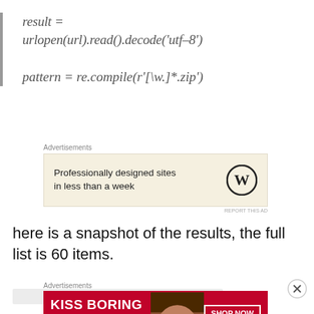[Figure (other): Advertisement banner: Professionally designed sites in less than a week, WordPress logo]
here is a snapshot of the results, the full list is 60 items.
[Figure (other): Advertisement banner: KISS BORING LIPS GOODBYE, Macy's SHOP NOW]